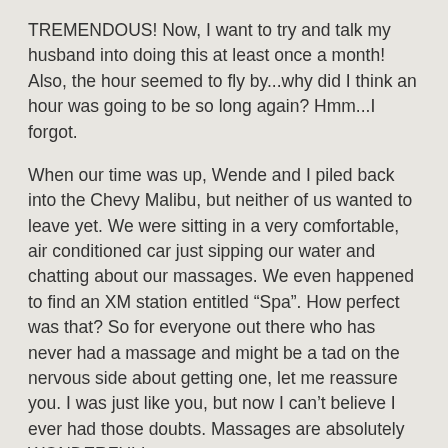TREMENDOUS!  Now, I want to try and talk my husband into doing this at least once a month!  Also, the hour seemed to fly by...why did I think an hour was going to be so long again?  Hmm...I forgot.
When our time was up, Wende and I piled back into the Chevy Malibu, but neither of us wanted to leave yet.  We were sitting in a very comfortable, air conditioned car just sipping our water and chatting about our massages.  We even happened to find an XM station entitled “Spa”.  How perfect was that?  So for everyone out there who has never had a massage and might be a tad on the nervous side about getting one, let me reassure you.  I was just like you, but now I can’t believe I ever had those doubts.  Massages are absolutely WONDERFUL!
This month, Chevy wants everyone to experience the